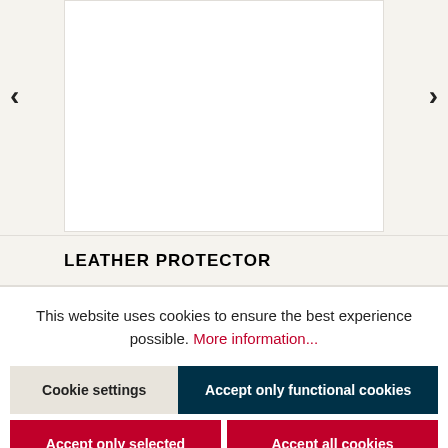[Figure (photo): Product image area with navigation arrows (left < and right >) on either side of a white image panel showing a leather protector product against a cream background.]
LEATHER PROTECTOR
This website uses cookies to ensure the best experience possible. More information...
Cookie settings
Accept only functional cookies
Accept only selected cookies
Accept all cookies